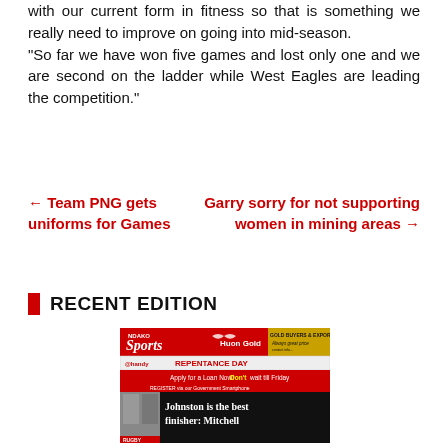with our current form in fitness so that is something we really need to improve on going into mid-season.
“So far we have won five games and lost only one and we are second on the ladder while West Eagles are leading the competition.”
← Team PNG gets uniforms for Games
Garry sorry for not supporting women in mining areas →
RECENT EDITION
[Figure (screenshot): Thumbnail image of a newspaper sports edition front page. Header says 'Sports' and 'Huon Gold', 'Gold Buyers & Exporters'. Below is an ad for 'handy' and 'REPENTANCE DAY' with text 'Apply for a Loan Now! Don't wait till Friday'. Bottom section shows a headline: 'Johnston is the best finisher: Mitchell'.]